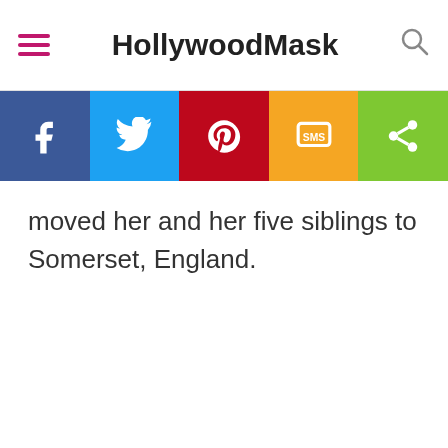HollywoodMask
[Figure (infographic): Social share bar with Facebook, Twitter, Pinterest, SMS, and Share buttons]
moved her and her five siblings to Somerset, England.